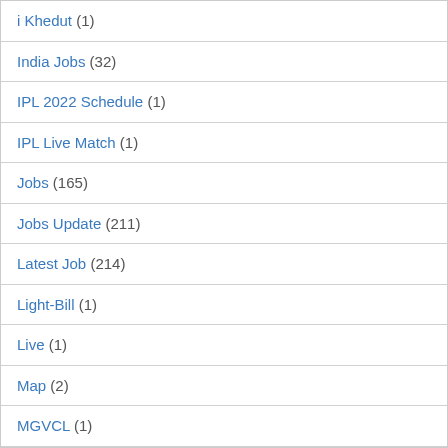i Khedut (1)
India Jobs (32)
IPL 2022 Schedule (1)
IPL Live Match (1)
Jobs (165)
Jobs Update (211)
Latest Job (214)
Light-Bill (1)
Live (1)
Map (2)
MGVCL (1)
Mukhymantri Yuva swavalamban Yojna (1)
Nagar Palika Recruitment (5)
New Job (27)
News (86)